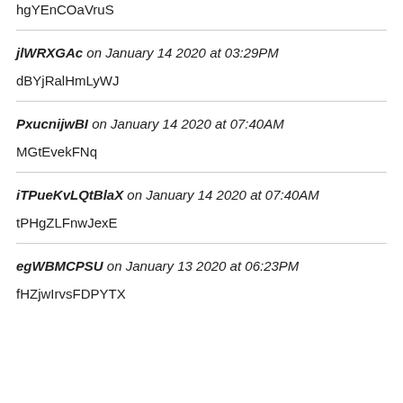hgYEnCOaVruS
jlWRXGAc on January 14 2020 at 03:29PM
dBYjRalHmLyWJ
PxucnijwBI on January 14 2020 at 07:40AM
MGtEvekFNq
iTPueKvLQtBlaX on January 14 2020 at 07:40AM
tPHgZLFnwJexE
egWBMCPSU on January 13 2020 at 06:23PM
fHZjwIrvsFDPYTX